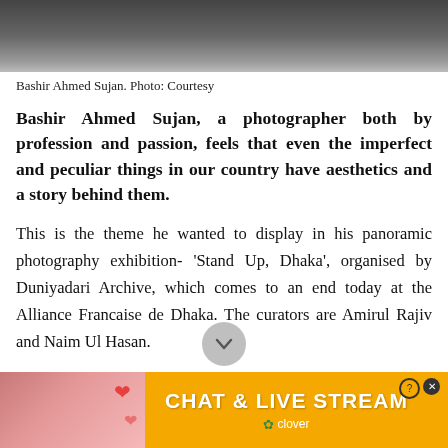[Figure (photo): Black and white photo of Bashir Ahmed Sujan, partially cropped at top of page]
Bashir Ahmed Sujan. Photo: Courtesy
Bashir Ahmed Sujan, a photographer both by profession and passion, feels that even the imperfect and peculiar things in our country have aesthetics and a story behind them.
This is the theme he wanted to display in his panoramic photography exhibition- 'Stand Up, Dhaka', organised by Duniyadari Archive, which comes to an end today at the Alliance Francaise de Dhaka. The curators are Amirul Rajiv and Naim Ul Hasan.
[Figure (photo): Advertisement banner: CHAT & LIVE STREAM by Clover, with image of woman on beach and heart emojis]